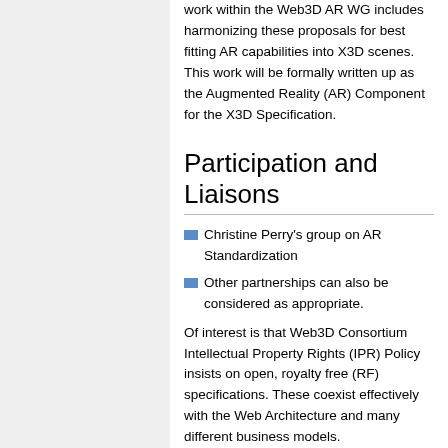work within the Web3D AR WG includes harmonizing these proposals for best fitting AR capabilities into X3D scenes. This work will be formally written up as the Augmented Reality (AR) Component for the X3D Specification.
Participation and Liaisons
Christine Perry's group on AR Standardization
Other partnerships can also be considered as appropriate.
Of interest is that Web3D Consortium Intellectual Property Rights (IPR) Policy insists on open, royalty free (RF) specifications. These coexist effectively with the Web Architecture and many different business models.
Augmented Reality Roadmap for X3D